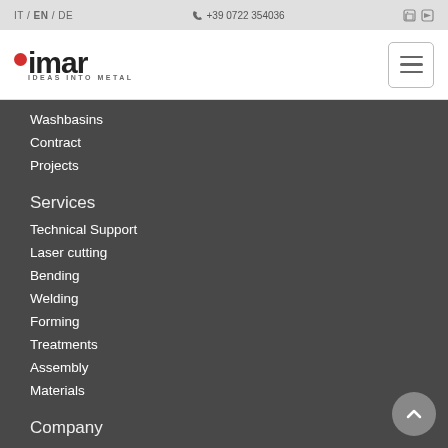IT / EN / DE   +39 0722 354036
[Figure (logo): IMAR logo with red dot and tagline 'IDEAS INTO METAL']
Washbasins
Contract
Projects
Services
Technical Support
Laser cutting
Bending
Welding
Forming
Treatments
Assembly
Materials
Company
IMAR milestones
Showroom